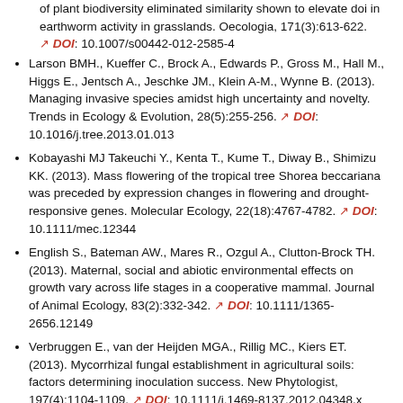(continuation) of plant biodiversity eliminated similarity shown to elevate doi in earthworm activity in grasslands. Oecologia, 171(3):613-622. DOI: 10.1007/s00442-012-2585-4
Larson BMH., Kueffer C., Brock A., Edwards P., Gross M., Hall M., Higgs E., Jentsch A., Jeschke JM., Klein A-M., Wynne B. (2013). Managing invasive species amidst high uncertainty and novelty. Trends in Ecology & Evolution, 28(5):255-256. DOI: 10.1016/j.tree.2013.01.013
Kobayashi MJ Takeuchi Y., Kenta T., Kume T., Diway B., Shimizu KK. (2013). Mass flowering of the tropical tree Shorea beccariana was preceded by expression changes in flowering and drought-responsive genes. Molecular Ecology, 22(18):4767-4782. DOI: 10.1111/mec.12344
English S., Bateman AW., Mares R., Ozgul A., Clutton-Brock TH. (2013). Maternal, social and abiotic environmental effects on growth vary across life stages in a cooperative mammal. Journal of Animal Ecology, 83(2):332-342. DOI: 10.1111/1365-2656.12149
Verbruggen E., van der Heijden MGA., Rillig MC., Kiers ET. (2013). Mycorrhizal fungal establishment in agricultural soils: factors determining inoculation success. New Phytologist, 197(4):1104-1109. DOI: 10.1111/j.1469-8137.2012.04348.x
Mayer C., Pasinelli G. (2013). New support for an old hypothesis: density affects extrapair paternity. Ecology and Evolution, 3(3):694-705. DOI: 10.1002/ece3.489
Leclaire S., Nielsen JF., Thavarajah NK., Manser M., Clutton-Brock (continuation)